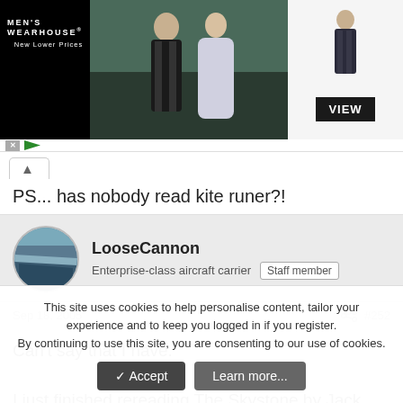[Figure (screenshot): Men's Wearhouse advertisement banner showing a couple in formalwear and a child in a suit with a VIEW button]
PS... has nobody read kite runer?!
LooseCannon
Enterprise-class aircraft carrier  Staff member
Sep 18, 2005  #252
Can't say that I have.

I just finished rereading The Skystone by Jack Whyte. Amazing book about how Arthur could have come to pass. Everyone
This site uses cookies to help personalise content, tailor your experience and to keep you logged in if you register.
By continuing to use this site, you are consenting to our use of cookies.